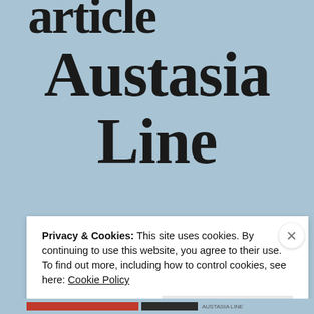article
Austasia Line
Privacy & Cookies: This site uses cookies. By continuing to use this website, you agree to their use.
To find out more, including how to control cookies, see here: Cookie Policy
Close and accept